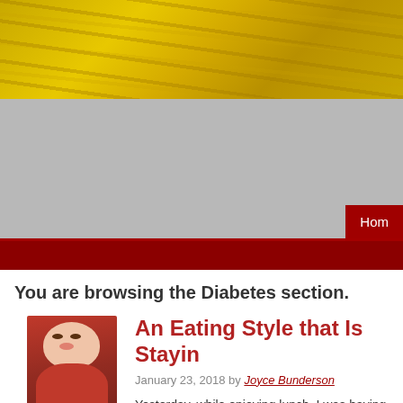[Figure (photo): Website header banner with golden wheat/grain background image]
[Figure (photo): Gray navigation/banner area with a red 'Home' button in the bottom right corner]
You are browsing the Diabetes section.
[Figure (photo): Author photo of Joyce Bunderson, a woman in a red jacket]
by Joyce Bunderson
An Eating Style that Is Stayin
January 23, 2018 by Joyce Bunderson
Yesterday, while enjoying lunch, I was having a conversa discussing the fact that I don't really have time to keep u diets. I remember back in the 1990's when I first realized according to diets, the question [...]